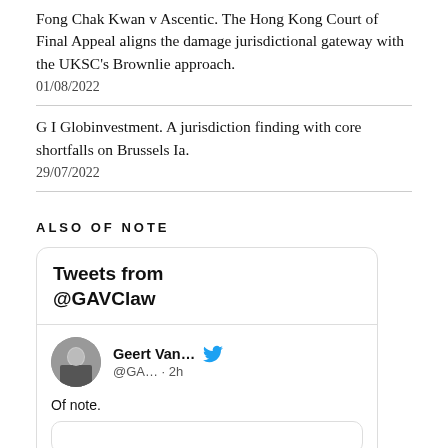Fong Chak Kwan v Ascentic. The Hong Kong Court of Final Appeal aligns the damage jurisdictional gateway with the UKSC's Brownlie approach.
01/08/2022
G I Globinvestment. A jurisdiction finding with core shortfalls on Brussels Ia.
29/07/2022
ALSO OF NOTE
[Figure (screenshot): Twitter/X widget showing 'Tweets from @GAVClaw' header, and a tweet by Geert Van... (@GA...) posted 2h ago reading 'Of note.']